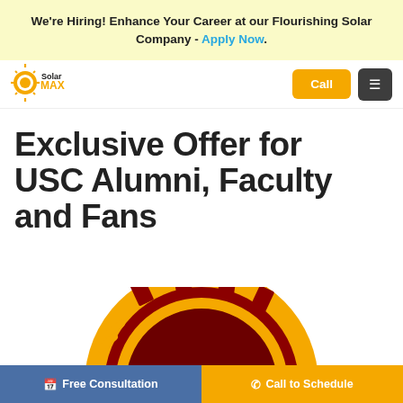We're Hiring! Enhance Your Career at our Flourishing Solar Company - Apply Now.
[Figure (logo): SolarMAX logo with yellow and orange sun graphic and company name]
Exclusive Offer for USC Alumni, Faculty and Fans
[Figure (logo): USC Trojans helmet logo — gold outer ring with dark red helmet, partially visible at page bottom]
Free Consultation | Call to Schedule